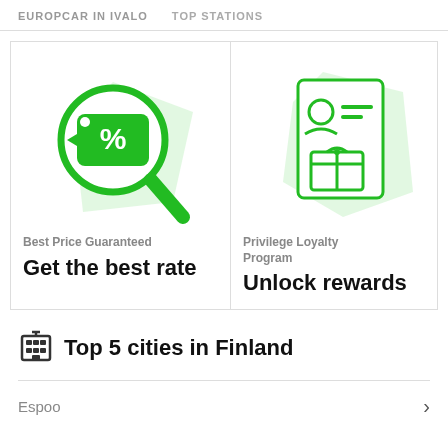EUROPCAR IN IVALO   TOP STATIONS
[Figure (illustration): Two promotional cards side by side. Left card: magnifying glass icon with a green price tag showing percent symbol, representing Best Price Guaranteed. Right card: loyalty card icon with a person profile and a gift box, representing Privilege Loyalty Program.]
Best Price Guaranteed
Get the best rate
Privilege Loyalty Program
Unlock rewards
Top 5 cities in Finland
Espoo